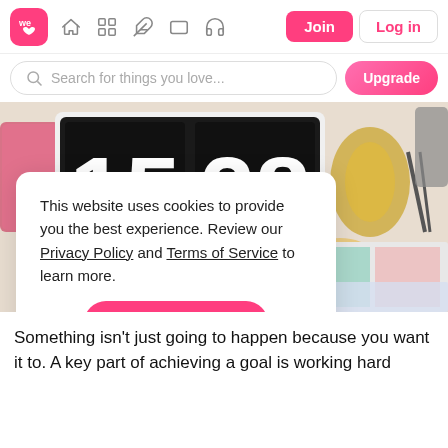[Figure (screenshot): We Heart It website navigation bar with logo, icons, Join and Log in buttons]
[Figure (screenshot): Search bar with placeholder 'Search for things you love...' and Upgrade button]
[Figure (photo): Desktop flatlay photo showing a flip clock reading 15:28, a watch, scissors, gold decorative items, stationery, a planner, and a glass of tea]
This website uses cookies to provide you the best experience. Review our Privacy Policy and Terms of Service to learn more.
Accept Cookies
Only users 16 years or older may use We Heart It.
Something isn’t just going to happen because you want it to. A key part of achieving a goal is working hard...